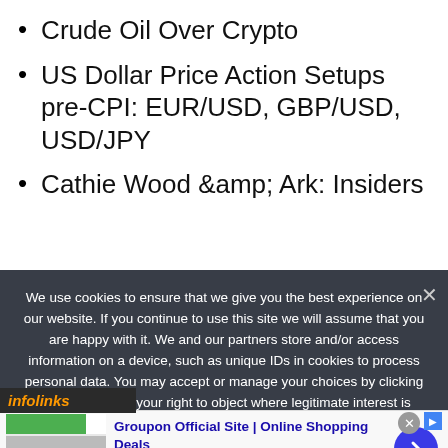Crude Oil Over Crypto
US Dollar Price Action Setups pre-CPI: EUR/USD, GBP/USD, USD/JPY
Cathie Wood &amp; Ark: Insiders
We use cookies to ensure that we give you the best experience on our website. If you continue to use this site we will assume that you are happy with it. We and our partners store and/or access information on a device, such as unique IDs in cookies to process personal data. You may accept or manage your choices by clicking below, including your right to object where legitimate interest is used, or at any time in the privacy policy page. These choices will be signalled to our partners and will not affect browsing data. We and our partners process data to provide: Use precise geolocation data. Actively scan device characteristics for identification. Store and/or
[Figure (screenshot): infolinks logo bar at bottom left]
[Figure (screenshot): Groupon advertisement banner showing 'Groupon Official Site | Online Shopping Deals' with text 'Discover & Save with Over 300k of the Best Deals' and url www.groupon.com, with a blue arrow button on the right]